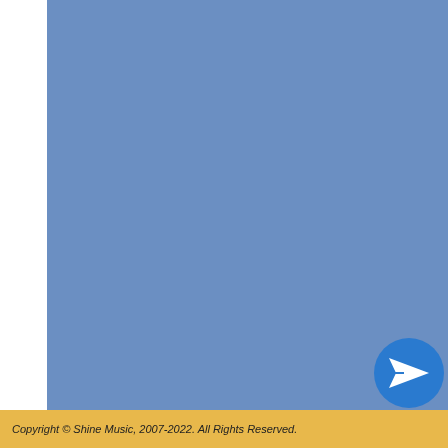[Figure (screenshot): Blue sidebar panel on the left side of the page]
Name
Violin
[Figure (other): Orange and dark blue arrow/next button]
* A member of our team... book in your lesson. You will also
[Figure (other): Blue circular send/paper plane button in bottom right]
Copyright © Shine Music, 2007-2022. All Rights Reserved.